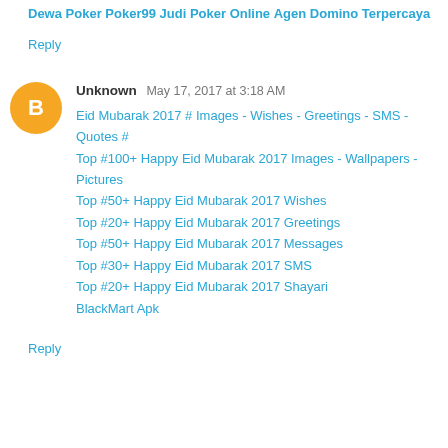Dewa Poker
Poker99
Judi Poker Online
Agen Domino Terpercaya
Reply
Unknown  May 17, 2017 at 3:18 AM
Eid Mubarak 2017 # Images - Wishes - Greetings - SMS - Quotes #
Top #100+ Happy Eid Mubarak 2017 Images - Wallpapers - Pictures
Top #50+ Happy Eid Mubarak 2017 Wishes
Top #20+ Happy Eid Mubarak 2017 Greetings
Top #50+ Happy Eid Mubarak 2017 Messages
Top #30+ Happy Eid Mubarak 2017 SMS
Top #20+ Happy Eid Mubarak 2017 Shayari
BlackMart Apk
Reply